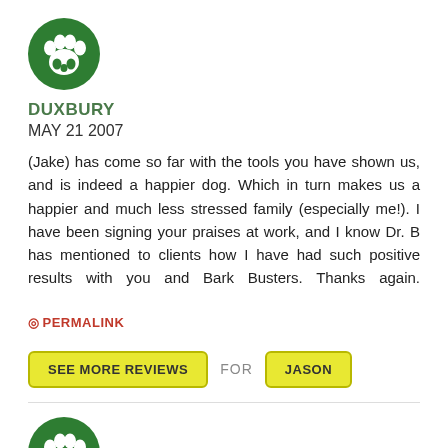[Figure (logo): Bark Busters paw print logo in green circle]
DUXBURY
MAY 21 2007
(Jake) has come so far with the tools you have shown us, and is indeed a happier dog. Which in turn makes us a happier and much less stressed family (especially me!). I have been signing your praises at work, and I know Dr. B has mentioned to clients how I have had such positive results with you and Bark Busters. Thanks again.
PERMALINK
SEE MORE REVIEWS FOR JASON
[Figure (logo): Bark Busters paw print logo in green circle]
SAN ANTONIO
MAY 19 2007